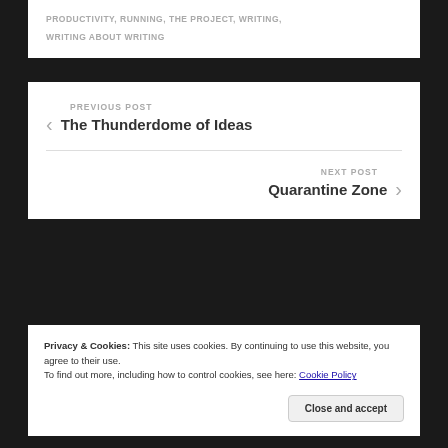PRODUCTIVITY, RUNNING, THE PROJECT, WRITING, WRITING ABOUT WRITING
PREVIOUS POST
The Thunderdome of Ideas
NEXT POST
Quarantine Zone
Privacy & Cookies: This site uses cookies. By continuing to use this website, you agree to their use.
To find out more, including how to control cookies, see here: Cookie Policy
Close and accept